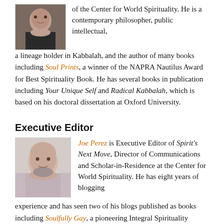[Figure (photo): Headshot photo of a person at top left of page, partial view]
of the Center for World Spirituality. He is a contemporary philosopher, public intellectual, a lineage holder in Kabbalah, and the author of many books including Soul Prints, a winner of the NAPRA Nautilus Award for Best Spirituality Book. He has several books in publication including Your Unique Self and Radical Kabbalah, which is based on his doctoral dissertation at Oxford University.
Executive Editor
[Figure (photo): Headshot photo of Joe Perez, a bald man with a beard]
Joe Perez is Executive Editor of Spirit's Next Move, Director of Communications and Scholar-in-Residence at the Center for World Spirituality. He has eight years of blogging experience and has seen two of his blogs published as books including Soulfully Gay, a pioneering Integral Spirituality memoir. He is an Honors graduate of Harvard University, has studied at The Divinity School at The University of Chicago, and holds a certificate in Integral Leadership from